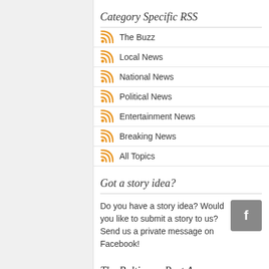Category Specific RSS
The Buzz
Local News
National News
Political News
Entertainment News
Breaking News
All Topics
Got a story idea?
Do you have a story idea? Would you like to submit a story to us? Send us a private message on Facebook!
The Baltimore Post App
[Figure (other): Google Play Store 'GET IT ON' banner with play button triangle icon]